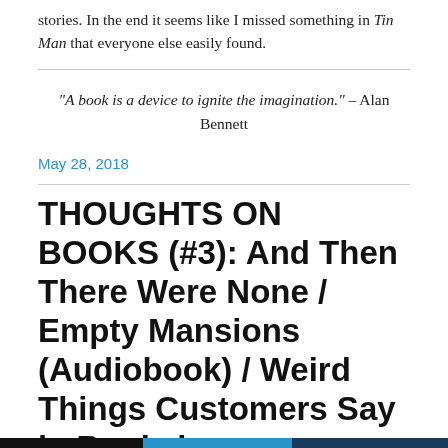stories. In the end it seems like I missed something in Tin Man that everyone else easily found.
“A book is a device to ignite the imagination.” – Alan Bennett
May 28, 2018
THOUGHTS ON BOOKS (#3): And Then There Were None / Empty Mansions (Audiobook) / Weird Things Customers Say in Bookshops